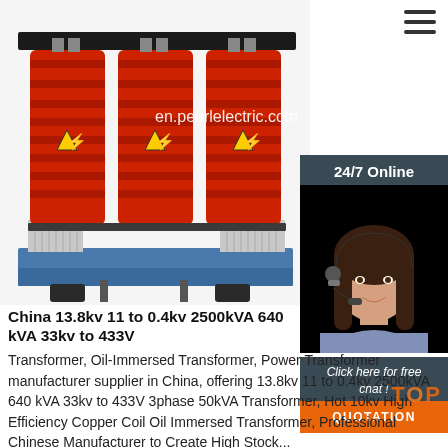[Figure (photo): Three-phase dry-type or oil-immersed transformer with red coil insulation wrapping on three cylindrical cores, mounted on a blue base frame, with yellow electrical hazard warning symbols. Watermark text: en.pearlelectric.com]
[Figure (photo): 24/7 Online customer service chat sidebar with dark blue-grey background, photo of female customer service agent wearing headset, 'Click here for free chat!' text in italic white, and orange QUOTATION button at bottom]
China 13.8kv 11 to 0.4kv 2500kVA 640 kVA 33kv to 433V
Transformer, Oil-Immersed Transformer, Power Transformer manufacturer supplier in China, offering 13.8kv 11 to 0.4kv 2500kVA 640 kVA 33kv to 433V 3phase 50kVA Transformer, Hot 10kv High Efficiency Copper Coil Oil Immersed Transformer, Professional Chinese Manufacturer to Create High Stock...